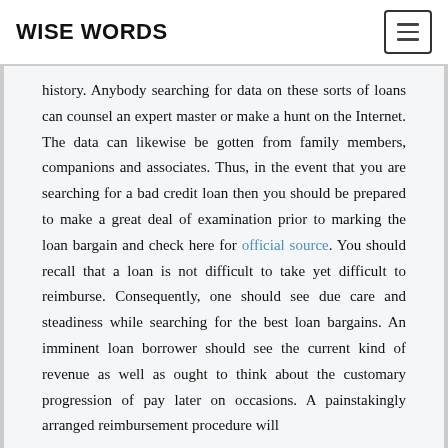WISE WORDS
history. Anybody searching for data on these sorts of loans can counsel an expert master or make a hunt on the Internet. The data can likewise be gotten from family members, companions and associates. Thus, in the event that you are searching for a bad credit loan then you should be prepared to make a great deal of examination prior to marking the loan bargain and check here for official source. You should recall that a loan is not difficult to take yet difficult to reimburse. Consequently, one should see due care and steadiness while searching for the best loan bargains. An imminent loan borrower should see the current kind of revenue as well as ought to think about the customary progression of pay later on occasions. A painstakingly arranged reimbursement procedure will